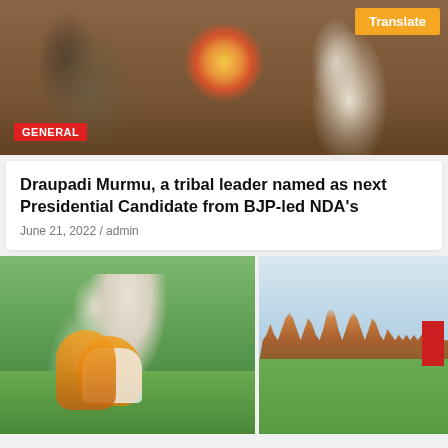[Figure (photo): Two people in formal attire seated in ornate chairs at an official meeting, with flower arrangement on table between them. Orange 'Translate' button visible top right. 'GENERAL' badge bottom left.]
Draupadi Murmu, a tribal leader named as next Presidential Candidate from BJP-led NDA's
June 21, 2022 / admin
[Figure (photo): Left: Close-up of PM Narendra Modi in white attire with orange scarf, hands folded in namaste, performing yoga on green mat. Right: Wide shot of group yoga session in front of Mysore Palace with Modi leading.]